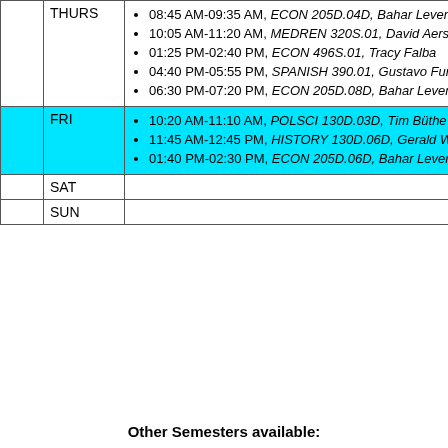|  | Day | Schedule |
| --- | --- | --- |
|  | THURS | 08:45 AM-09:35 AM, ECON 205D.04D, Bahar Leventoglu | 10:05 AM-11:20 AM, MEDREN 320S.01, David Aers | 01:25 PM-02:40 PM, ECON 496S.01, Tracy Falba | 04:40 PM-05:55 PM, SPANISH 390.01, Gustavo Furtado | 06:30 PM-07:20 PM, ECON 205D.08D, Bahar Leventoglu |
|  | FRI | 10:20 AM-11:10 AM, POLSCI 130D.03D, Tim Büthe | 11:45 AM-12:45 PM, HISTORY 130D.06D, Gerald Wilson | 01:40 PM-02:30 PM, ECON 205D.06D, Bahar Leventoglu |
|  | SAT |  |
|  | SUN |  |
Other Semesters available: